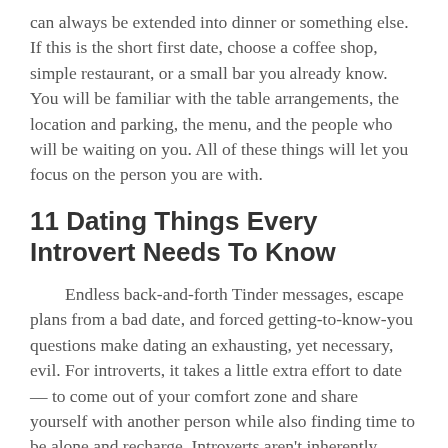can always be extended into dinner or something else. If this is the short first date, choose a coffee shop, simple restaurant, or a small bar you already know. You will be familiar with the table arrangements, the location and parking, the menu, and the people who will be waiting on you. All of these things will let you focus on the person you are with.
11 Dating Things Every Introvert Needs To Know
Endless back-and-forth Tinder messages, escape plans from a bad date, and forced getting-to-know-you questions make dating an exhausting, yet necessary, evil. For introverts, it takes a little extra effort to date — to come out of your comfort zone and share yourself with another person while also finding time to be alone and recharge. Introverts aren't inherently antisocial — just in tune with themselves. So, once they finally get past the